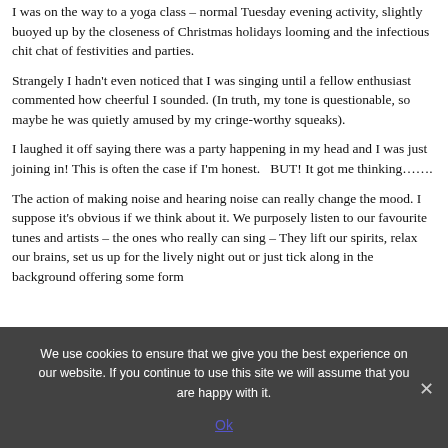I was on the way to a yoga class – normal Tuesday evening activity, slightly buoyed up by the closeness of Christmas holidays looming and the infectious chit chat of festivities and parties.
Strangely I hadn't even noticed that I was singing until a fellow enthusiast commented how cheerful I sounded. (In truth, my tone is questionable, so maybe he was quietly amused by my cringe-worthy squeaks).
I laughed it off saying there was a party happening in my head and I was just joining in! This is often the case if I'm honest.   BUT! It got me thinking…….
The action of making noise and hearing noise can really change the mood. I suppose it's obvious if we think about it. We purposely listen to our favourite tunes and artists – the ones who really can sing – They lift our spirits, relax our brains, set us up for the lively night out or just tick along in the background offering some form...
We use cookies to ensure that we give you the best experience on our website. If you continue to use this site we will assume that you are happy with it.
Ok